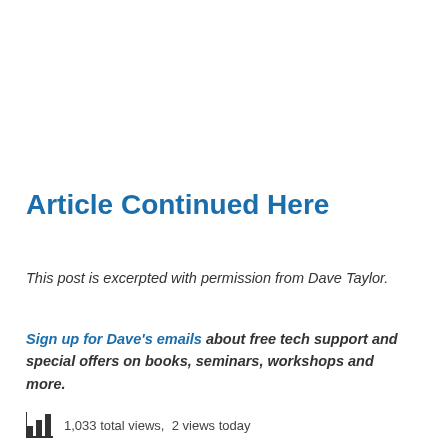Article Continued Here
This post is excerpted with permission from Dave Taylor.
Sign up for Dave's emails about free tech support and special offers on books, seminars, workshops and more.
1,033 total views,  2 views today